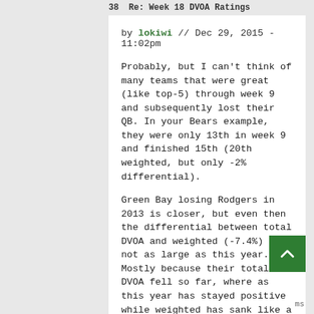38 Re: Week 18 DVOA Ratings
by lokiwi // Dec 29, 2015 - 11:02pm
Probably, but I can't think of many teams that were great (like top-5) through week 9 and subsequently lost their QB. In your Bears example, they were only 13th in week 9 and finished 15th (20th weighted, but only -2% differential).
Green Bay losing Rodgers in 2013 is closer, but even then the differential between total DVOA and weighted (-7.4%) is not as large as this year. Mostly because their total DVOA fell so far, where as this year has stayed positive while weighted has sank like a rock.
Log in or register to post comments